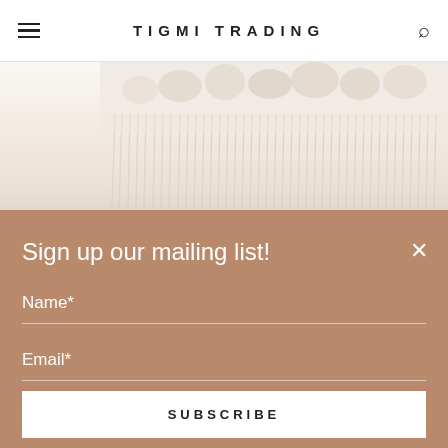TIGMI TRADING
[Figure (photo): Close-up photo of a white macrame wall hanging with knotted and fringe details on a light background]
Sign up our mailing list!
Name*
Email*
SUBSCRIBE